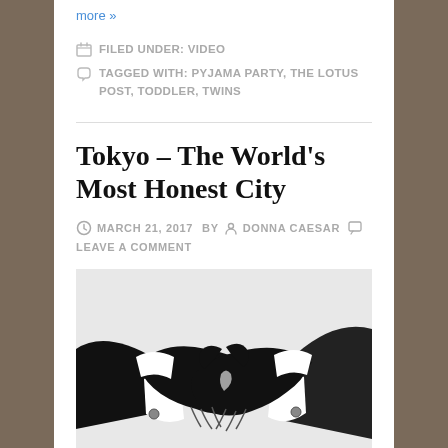more »
FILED UNDER: VIDEO
TAGGED WITH: PYJAMA PARTY, THE LOTUS POST, TODDLER, TWINS
Tokyo – The World's Most Honest City
MARCH 21, 2017  BY  DONNA CAESAR  LEAVE A COMMENT
[Figure (illustration): Black and white illustration of two people in business suits shaking hands, on a light gray background]